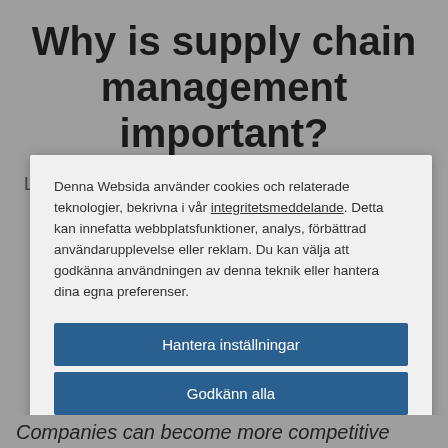Why is supply chain management important?
Look around you. Basically, nothing in your home or...
Denna Websida använder cookies och relaterade teknologier, bekrivna i vår integritetsmeddelande. Detta kan innefatta webbplatsfunktioner, analys, förbättrad användarupplevelse eller reklam. Du kan välja att godkänna användningen av denna teknik eller hantera dina egna preferenser.
Hantera inställningar
Godkänn alla
Avvisa alla
Cookieförklaring
Companies can become more competitive